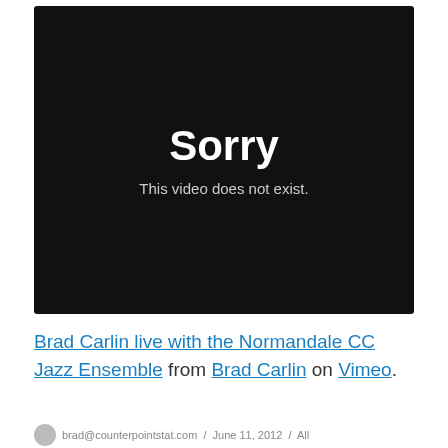[Figure (screenshot): Dark video player error screen with text 'Sorry' in large bold white font and 'This video does not exist.' in smaller gray text below, on a black background.]
Brad Carlin live with the Normandale CC Jazz Ensemble from Brad Carlin on Vimeo.
brad@counterpointstat.com / June 11, 2012 / All